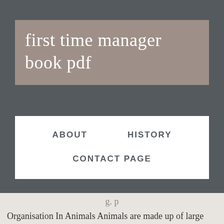first time manager book pdf
ABOUT    HISTORY    CONTACT PAGE
Organisation In Animals Animals are made up of large numbers of components, which includes different type of cells, tissues, and organs. This will help the students because the Revision Notes of class 11 is created by a